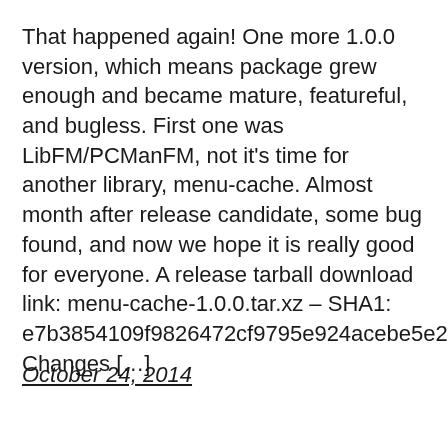That happened again! One more 1.0.0 version, which means package grew enough and became mature, featureful, and bugless. First one was LibFM/PCManFM, not it's time for another library, menu-cache. Almost month after release candidate, some bug found, and now we hope it is really good for everyone. A release tarball download link: menu-cache-1.0.0.tar.xz – SHA1: e7b3854109f9826472cf9795e924acebe5e27861 Changes […]
October 24, 2014